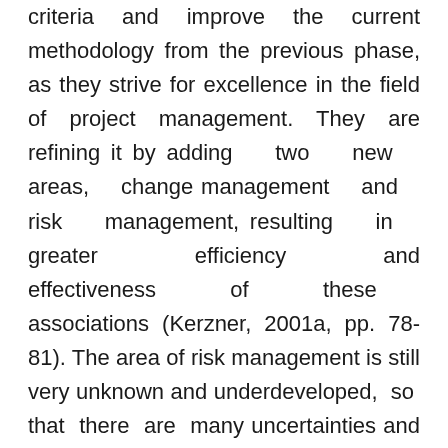criteria and improve the current methodology from the previous phase, as they strive for excellence in the field of project management. They are refining it by adding two new areas, change management and risk management, resulting in greater efficiency and effectiveness of these associations (Kerzner, 2001a, pp. 78-81). The area of risk management is still very unknown and underdeveloped, so that there are many uncertainties and unsolved problems.